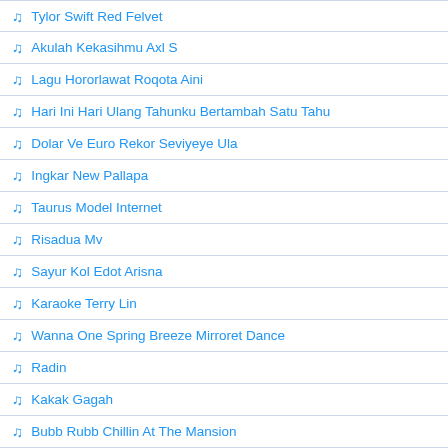Tylor Swift Red Felvet
Akulah Kekasihmu Axl S
Lagu Hororlawat Roqota Aini
Hari Ini Hari Ulang Tahunku Bertambah Satu Tahu
Dolar Ve Euro Rekor Seviyeye Ula
Ingkar New Pallapa
Taurus Model Internet
Risadua Mv
Sayur Kol Edot Arisna
Karaoke Terry Lin
Wanna One Spring Breeze Mirroret Dance
Radin
Kakak Gagah
Bubb Rubb Chillin At The Mansion